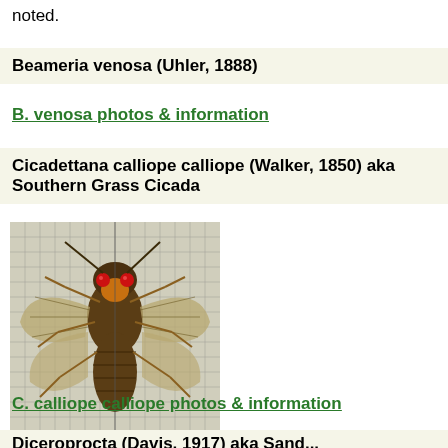noted.
Beameria venosa (Uhler, 1888)
B. venosa photos & information
Cicadettana calliope calliope (Walker, 1850) aka Southern Grass Cicada
[Figure (photo): Specimen photo of a cicada (Cicadettana calliope calliope) pinned against a grid background, showing dorsal view with wings spread, distinctive red eyes, and brown/orange coloring.]
C. calliope calliope photos & information
Diceroprocta (Davis, 1917) aka Sand...